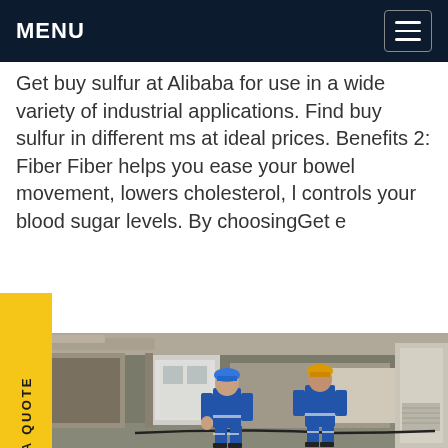MENU
Get buy sulfur at Alibaba for use in a wide variety of industrial applications. Find buy sulfur in different ms at ideal prices. Benefits 2: Fiber Fiber helps you ease your bowel movement, lowers cholesterol, l controls your blood sugar levels. By choosingGet e
[Figure (photo): Two workers in blue coveralls and hard hats walking through an industrial facility corridor with large machinery, pipes, and equipment on both sides.]
REQUEST A QUOTE